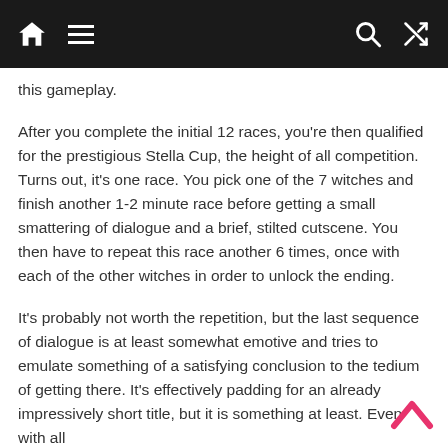Home Menu Search Shuffle
this gameplay.
After you complete the initial 12 races, you're then qualified for the prestigious Stella Cup, the height of all competition. Turns out, it's one race. You pick one of the 7 witches and finish another 1-2 minute race before getting a small smattering of dialogue and a brief, stilted cutscene. You then have to repeat this race another 6 times, once with each of the other witches in order to unlock the ending.
It's probably not worth the repetition, but the last sequence of dialogue is at least somewhat emotive and tries to emulate something of a satisfying conclusion to the tedium of getting there. It's effectively padding for an already impressively short title, but it is something at least. Even with all